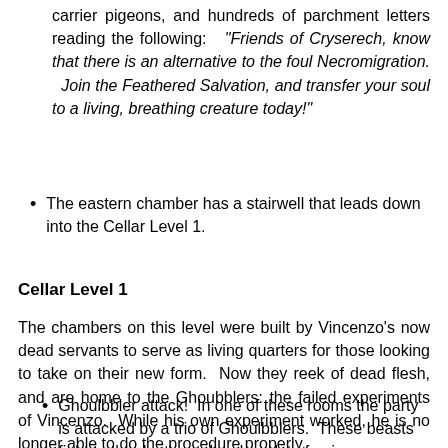carrier pigeons, and hundreds of parchment letters reading the following: "Friends of Cryserech, know that there is an alternative to the foul Necromigration. Join the Feathered Salvation, and transfer your soul to a living, breathing creature today!"
The eastern chamber has a stairwell that leads down into the Cellar Level 1.
Cellar Level 1
The chambers on this level were built by Vincenzo's now dead servants to serve as living quarters for those looking to take on their new form. Now they reek of dead flesh, and are home to the Ghoubblers: the failed experiments of Vincenzo. While his own experiment worked, he is no longer able to do the procedure properly.
Ghoulbbler attack! In one of these rooms the party is attacked by a trio of Ghoulbblers. These beasts fight to the death, and make a lot of noise